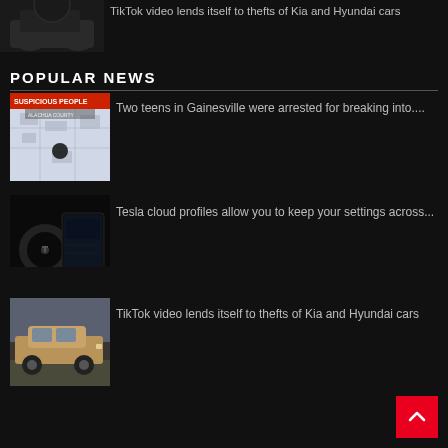[Figure (photo): Partially cropped thumbnail of a Kia Soul car]
TikTok video lends itself to thefts of Kia and Hyundai cars
POPULAR NEWS
[Figure (photo): Screenshot showing Suspicious People map overlay from Alachua County]
Two teens in Gainesville were arrested for breaking into....
[Figure (photo): Tesla interior dashboard and steering wheel]
Tesla cloud profiles allow you to keep your settings across...
[Figure (photo): Kia Soul SUV parked outdoors]
TikTok video lends itself to thefts of Kia and Hyundai cars